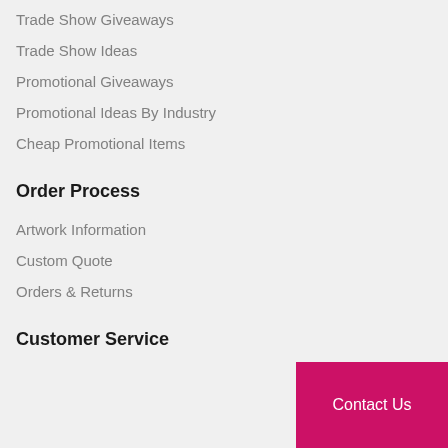Trade Show Giveaways
Trade Show Ideas
Promotional Giveaways
Promotional Ideas By Industry
Cheap Promotional Items
Order Process
Artwork Information
Custom Quote
Orders & Returns
Customer Service
Contact Us